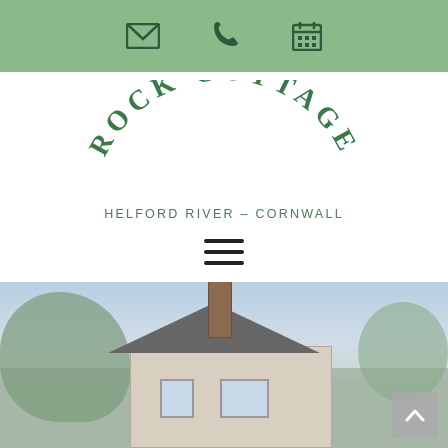Top navigation bar with email, phone, and calendar icons
[Figure (logo): Rock Cottage logo with text arranged in an arc reading ROCK COTTAGE, subtitle HELFORD RIVER - CORNWALL, in dark green serif font]
[Figure (photo): Exterior photograph of Rock Cottage, a stone cottage with chimney, slate roof, surrounded by trees, under a partly cloudy sky. Back-to-top button in bottom right corner.]